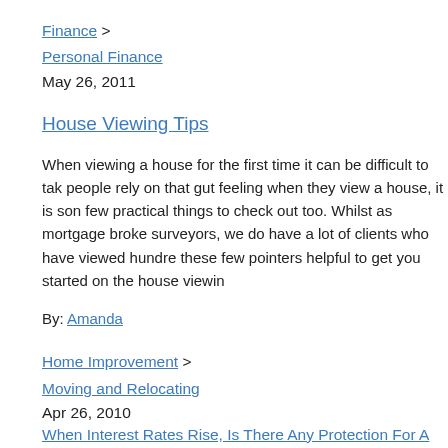Finance > Personal Finance
May 26, 2011
House Viewing Tips
When viewing a house for the first time it can be difficult to tak people rely on that gut feeling when they view a house, it is son few practical things to check out too. Whilst as mortgage broke surveyors, we do have a lot of clients who have viewed hundre these few pointers helpful to get you started on the house viewin
By: Amanda
Home Improvement > Moving and Relocating
Apr 26, 2010
When Interest Rates Rise, Is There Any Protection For A Buy T